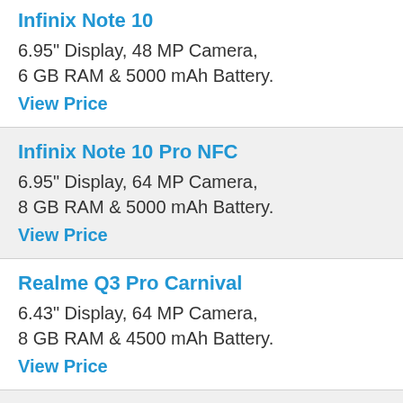Infinix Note 10
6.95" Display, 48 MP Camera,
6 GB RAM & 5000 mAh Battery.
View Price
Infinix Note 10 Pro NFC
6.95" Display, 64 MP Camera,
8 GB RAM & 5000 mAh Battery.
View Price
Realme Q3 Pro Carnival
6.43" Display, 64 MP Camera,
8 GB RAM & 4500 mAh Battery.
View Price
Realme GT Neo Flash
6.43" Display, 64 MP Camera,
12 GB RAM & 4500 mAh Battery.
View Price